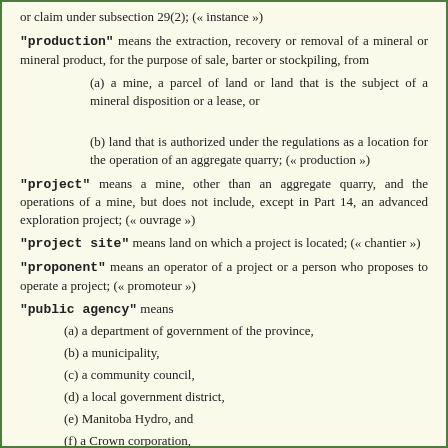or claim under subsection 29(2); (« instance »)
"production" means the extraction, recovery or removal of a mineral or mineral product, for the purpose of sale, barter or stockpiling, from
(a) a mine, a parcel of land or land that is the subject of a mineral disposition or a lease, or
(b) land that is authorized under the regulations as a location for the operation of an aggregate quarry; (« production »)
"project" means a mine, other than an aggregate quarry, and the operations of a mine, but does not include, except in Part 14, an advanced exploration project; (« ouvrage »)
"project site" means land on which a project is located; (« chantier »)
"proponent" means an operator of a project or a person who proposes to operate a project; (« promoteur »)
"public agency" means
(a) a department of government of the province,
(b) a municipality,
(c) a community council,
(d) a local government district,
(e) Manitoba Hydro, and
(f) a Crown corporation,